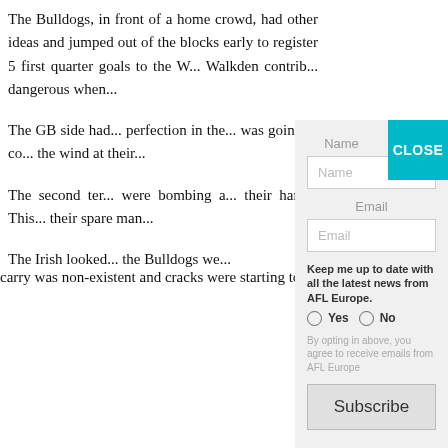The Bulldogs, in front of a home crowd, had other ideas and jumped out of the blocks early to register 5 first quarter goals to the W... Walkden contrib... dangerous when...
The GB side had... perfection in the... was going to co... the wind at their...
The second ter... were bombing a... their hands. This... their spare man...
The Irish looked... the Bulldogs we... carry was non-existent and cracks were starting to show.
[Figure (screenshot): A modal/popup form overlaying the article text. Contains a teal CLOSE button in top right, a Name field with placeholder 'Name', an Email field with placeholder 'Email', a newsletter subscription opt-in with Yes/No radio buttons labeled 'Keep me up to date with all the latest news from AFL Europe.', opt-in disclaimer text, and a Subscribe button.]